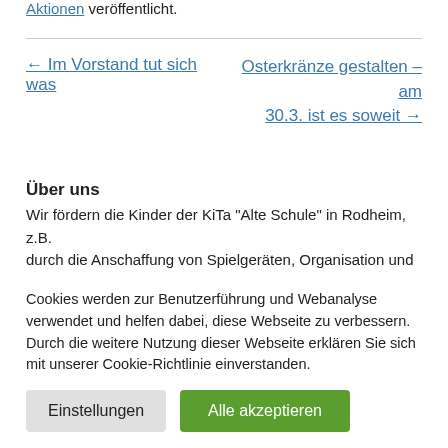Aktionen veröffentlicht.
← Im Vorstand tut sich was
Osterkränze gestalten – am 30.3. ist es soweit →
Über uns
Wir fördern die Kinder der KiTa "Alte Schule" in Rodheim, z.B. durch die Anschaffung von Spielgeräten, Organisation und
Cookies werden zur Benutzerführung und Webanalyse verwendet und helfen dabei, diese Webseite zu verbessern. Durch die weitere Nutzung dieser Webseite erklären Sie sich mit unserer Cookie-Richtlinie einverstanden.
Einstellungen
Alle akzeptieren